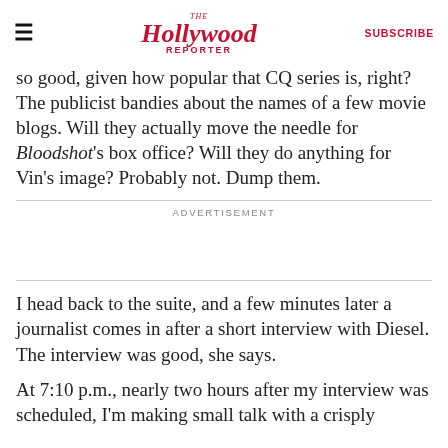The Hollywood Reporter | SUBSCRIBE
so good, given how popular that CQ series is, right? The publicist bandies about the names of a few movie blogs. Will they actually move the needle for Bloodshot's box office? Will they do anything for Vin's image? Probably not. Dump them.
ADVERTISEMENT
I head back to the suite, and a few minutes later a journalist comes in after a short interview with Diesel. The interview was good, she says.
At 7:10 p.m., nearly two hours after my interview was scheduled, I'm making small talk with a crisply